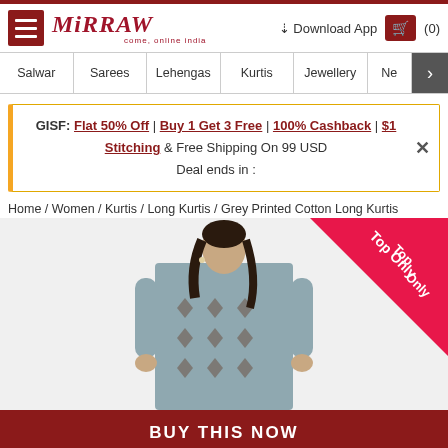Mirraw — Come Online India
Salwar | Sarees | Lehengas | Kurtis | Jewellery | Ne >
GISF: Flat 50% Off | Buy 1 Get 3 Free | 100% Cashback | $1 Stitching & Free Shipping On 99 USD Deal ends in :
Home / Women / Kurtis / Long Kurtis / Grey Printed Cotton Long Kurtis
[Figure (photo): Model wearing a grey printed cotton long kurti with a 'Top Only' diagonal ribbon badge in the top right corner.]
BUY THIS NOW